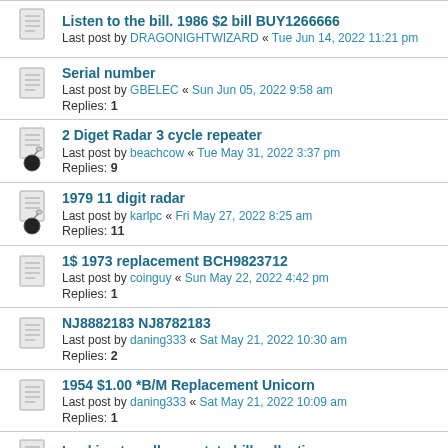Listen to the bill. 1986 $2 bill BUY1266666
Last post by DRAGONIGHTWIZARD « Tue Jun 14, 2022 11:21 pm
Serial number
Last post by GBELEC « Sun Jun 05, 2022 9:58 am
Replies: 1
2 Diget Radar 3 cycle repeater
Last post by beachcow « Tue May 31, 2022 3:37 pm
Replies: 9
1979 11 digit radar
Last post by karlpc « Fri May 27, 2022 8:25 am
Replies: 11
1$ 1973 replacement BCH9823712
Last post by coinguy « Sun May 22, 2022 4:42 pm
Replies: 1
NJ8882183 NJ8782183
Last post by daning333 « Sat May 21, 2022 10:30 am
Replies: 2
1954 $1.00 *B/M Replacement Unicorn
Last post by daning333 « Sat May 21, 2022 10:09 am
Replies: 1
Looking to sell my estate bill collection
Last post by Dvpsports « Mon May 09, 2022 8:05 am
1954 bills not registered. Replacement, Devils Face
Last post by matt55804 « Thu May 05, 2022 6:42 pm